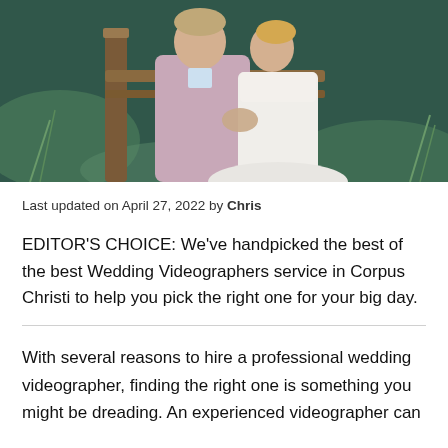[Figure (photo): Wedding couple standing by a wooden fence with green foliage and dark background. Groom in light pink/mauve suit, bride in white dress.]
Last updated on April 27, 2022 by Chris
EDITOR'S CHOICE: We've handpicked the best of the best Wedding Videographers service in Corpus Christi to help you pick the right one for your big day.
With several reasons to hire a professional wedding videographer, finding the right one is something you might be dreading. An experienced videographer can